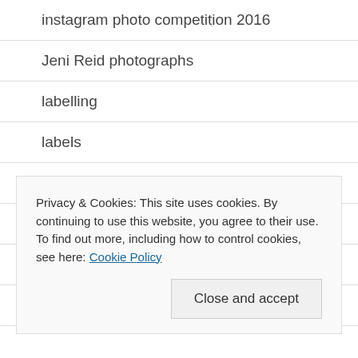instagram photo competition 2016
Jeni Reid photographs
labelling
labels
processing wool
Q&A
shearing wool
sheep
Privacy & Cookies: This site uses cookies. By continuing to use this website, you agree to their use.
To find out more, including how to control cookies, see here: Cookie Policy